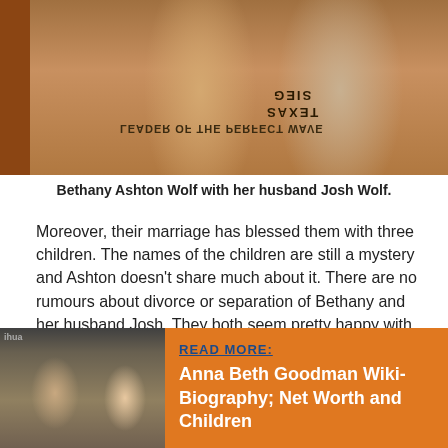[Figure (photo): Two people standing together at what appears to be an outdoor event. Left person wearing white t-shirt with upside-down text, right person wearing white sleeveless top with graphic, carrying a bag.]
Bethany Ashton Wolf with her husband Josh Wolf.
Moreover, their marriage has blessed them with three children. The names of the children are still a mystery and Ashton doesn't share much about it. There are no rumours about divorce or separation of Bethany and her husband Josh. They both seem pretty happy with each other and are living blissfully with their children.
[Figure (photo): Two people posing for a photo at what appears to be a media event. An older man on the left and a younger blonde woman on the right.]
READ MORE: Anna Beth Goodman Wiki-Biography; Net Worth and Children